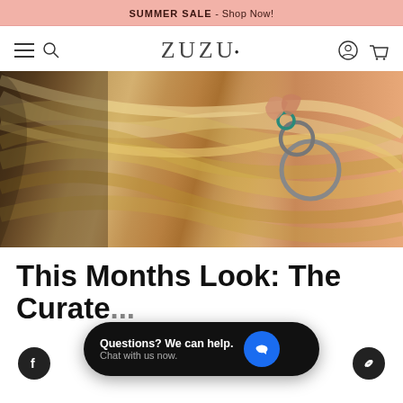SUMMER SALE - Shop Now!
[Figure (logo): ZUZU jewelry brand logo in thin serif lettering]
[Figure (photo): Close-up photo of a woman's ear with multiple hoop earrings, including a turquoise ring, against blonde hair and skin background]
This Months Look: The Curate...
[Figure (screenshot): Chat widget overlay: 'Questions? We can help. Chat with us now.' with blue chat bubble icon]
[Figure (other): Facebook social icon (dark circle with F)]
[Figure (other): Link/chain social icon (dark circle with chain link)]